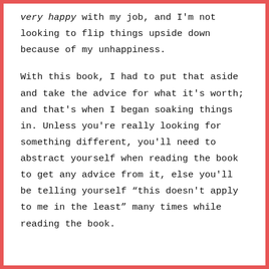[...] very happy with my job, and I'm not looking to flip things upside down because of my unhappiness.
With this book, I had to put that aside and take the advice for what it's worth; and that's when I began soaking things in. Unless you're really looking for something different, you'll need to abstract yourself when reading the book to get any advice from it, else you'll be telling yourself “this doesn't apply to me in the least” many times while reading the book.